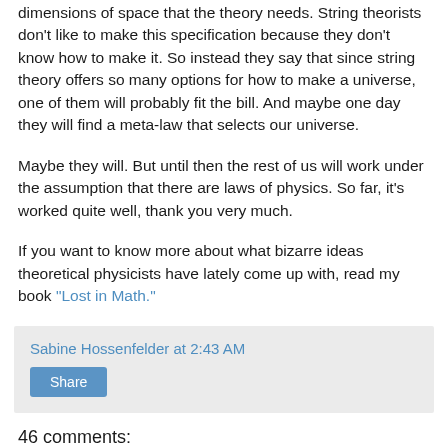dimensions of space that the theory needs. String theorists don't like to make this specification because they don't know how to make it. So instead they say that since string theory offers so many options for how to make a universe, one of them will probably fit the bill. And maybe one day they will find a meta-law that selects our universe.
Maybe they will. But until then the rest of us will work under the assumption that there are laws of physics. So far, it's worked quite well, thank you very much.
If you want to know more about what bizarre ideas theoretical physicists have lately come up with, read my book “Lost in Math.”
Sabine Hossenfelder at 2:43 AM
Share
46 comments: